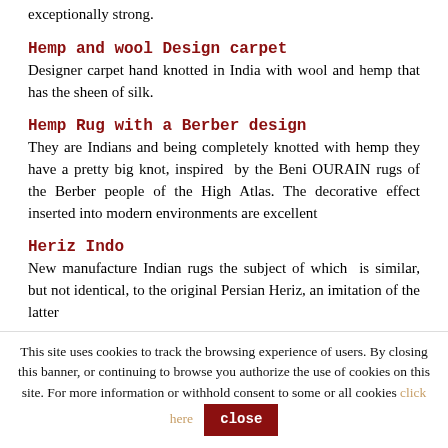exceptionally strong.
Hemp and wool Design carpet
Designer carpet hand knotted in India with wool and hemp that has the sheen of silk.
Hemp Rug with a Berber design
They are Indians and being completely knotted with hemp they have a pretty big knot, inspired  by the Beni OURAIN rugs of the Berber people of the High Atlas. The decorative effect inserted into modern environments are excellent
Heriz Indo
New manufacture Indian rugs the subject of which  is similar, but not identical, to the original Persian Heriz, an imitation of the latter
Heriz Serapi D…
This site uses cookies to track the browsing experience of users. By closing this banner, or continuing to browse you authorize the use of cookies on this site. For more information or withhold consent to some or all cookies click here close